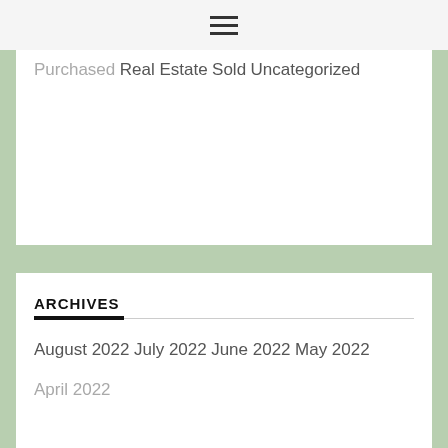Purchased
Real Estate
Sold
Uncategorized
ARCHIVES
August 2022
July 2022
June 2022
May 2022
April 2022